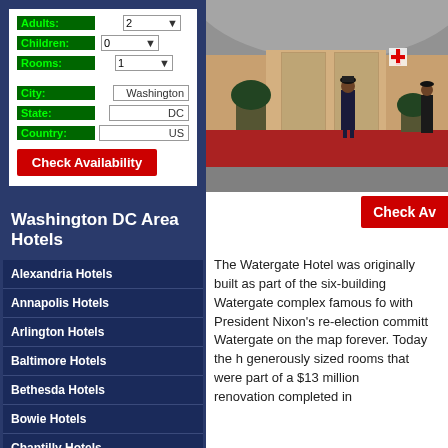Adults: 2
Children: 0
Rooms: 1
City: Washington
State: DC
Country: US
Check Availability
Washington DC Area Hotels
Alexandria Hotels
Annapolis Hotels
Arlington Hotels
Baltimore Hotels
Bethesda Hotels
Bowie Hotels
Chantilly Hotels
College Park Hotels
Columbia Hotels
Fairfax Hotels
Falls Church Hotels
[Figure (photo): Exterior entrance of the Watergate Hotel showing doormen, revolving doors, and red carpet]
Check Av...
The Watergate Hotel was originally built as part of the six-building Watergate complex famous for its association with President Nixon's re-election committee, putting the Watergate on the map forever. Today the hotel features generously sized rooms that were part of a $13 million renovation completed in